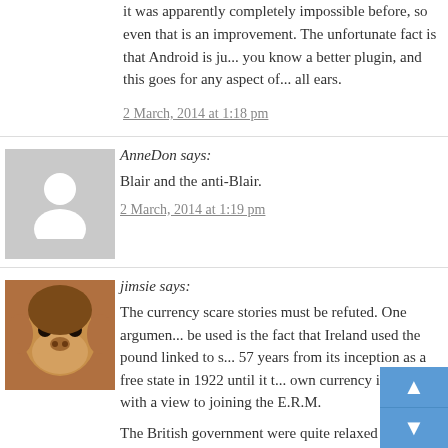it was apparently completely impossible before, so even that is an improvement. The unfortunate fact is that Android is ju... you know a better plugin, and this goes for any aspect of... all ears.
2 March, 2014 at 1:18 pm
AnneDon says:
Blair and the anti-Blair.
2 March, 2014 at 1:19 pm
[Figure (photo): Avatar of commenter jimsie showing an orangutan face]
jimsie says:
The currency scare stories must be refuted. One argumen... be used is the fact that Ireland used the pound linked to s... 57 years from its inception as a free state in 1922 until it t... own currency in 1979 with a view to joining the E.R.M.
The British government were quite relaxed about this arra... it worked well enough for Ireland it can work for Scotland...
2 March, 2014 at 1:20 pm
[Figure (photo): Avatar of commenter heedtracker showing a cat eye close-up]
heedtracker says:
'For those people in the middle, it's much more a